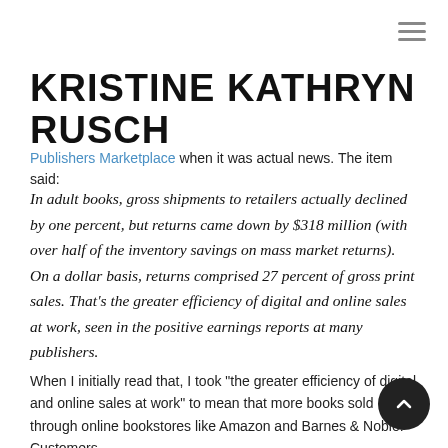KRISTINE KATHRYN RUSCH
Publishers Marketplace when it was actual news. The item said:
In adult books, gross shipments to retailers actually declined by one percent, but returns came down by $318 million (with over half of the inventory savings on mass market returns). On a dollar basis, returns comprised 27 percent of gross print sales. That's the greater efficiency of digital and online sales at work, seen in the positive earnings reports at many publishers.
When I initially read that, I took “the greater efficiency of digital and online sales at work” to mean that more books sold through online bookstores like Amazon and Barnes & Noble. Customers